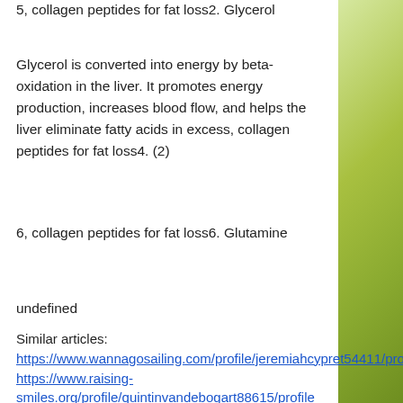5, collagen peptides for fat loss2. Glycerol
Glycerol is converted into energy by beta-oxidation in the liver. It promotes energy production, increases blood flow, and helps the liver eliminate fatty acids in excess, collagen peptides for fat loss4. (2)
6, collagen peptides for fat loss6. Glutamine
undefined
Similar articles:
https://www.wannagosailing.com/profile/jeremiahcypret54411/profile
https://www.raising-smiles.org/profile/quintinvandebogart88615/profile
https://www.divineworship.org/profile/illahepb